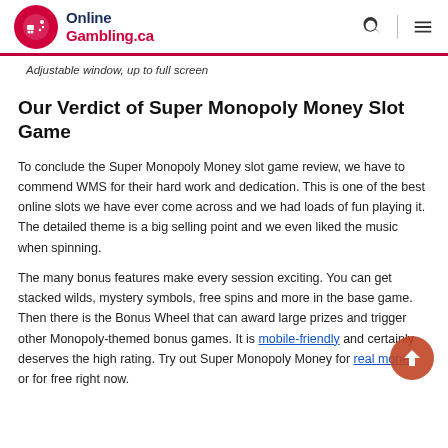OnlineGambling.ca
Adjustable window, up to full screen
Our Verdict of Super Monopoly Money Slot Game
To conclude the Super Monopoly Money slot game review, we have to commend WMS for their hard work and dedication. This is one of the best online slots we have ever come across and we had loads of fun playing it. The detailed theme is a big selling point and we even liked the music when spinning.
The many bonus features make every session exciting. You can get stacked wilds, mystery symbols, free spins and more in the base game. Then there is the Bonus Wheel that can award large prizes and trigger other Monopoly-themed bonus games. It is mobile-friendly and certainly deserves the high rating. Try out Super Monopoly Money for real money or for free right now.